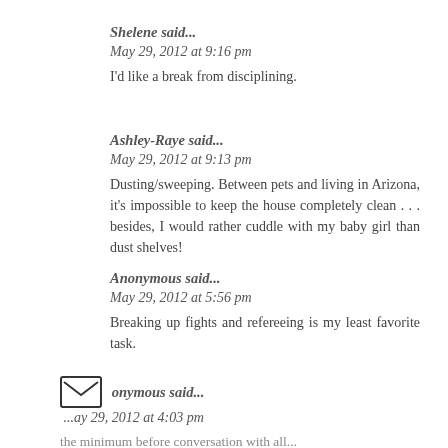Shelene said...
May 29, 2012 at 9:16 pm
I'd like a break from disciplining.
Ashley-Raye said...
May 29, 2012 at 9:13 pm
Dusting/sweeping. Between pets and living in Arizona, it's impossible to keep the house completely clean . . . besides, I would rather cuddle with my baby girl than dust shelves!
Anonymous said...
May 29, 2012 at 5:56 pm
Breaking up fights and refereeing is my least favorite task.
Anonymous said...
May 29, 2012 at 4:03 pm
the minimum before conversation with all...